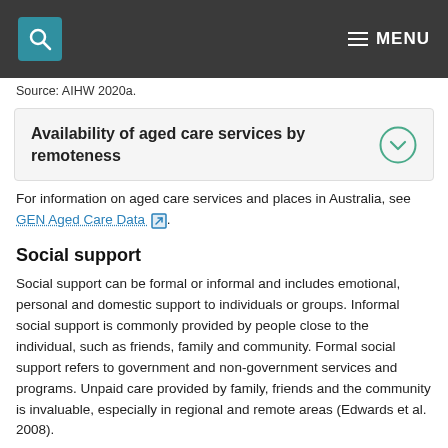Search | MENU
Source: AIHW 2020a.
Availability of aged care services by remoteness
For information on aged care services and places in Australia, see GEN Aged Care Data.
Social support
Social support can be formal or informal and includes emotional, personal and domestic support to individuals or groups. Informal social support is commonly provided by people close to the individual, such as friends, family and community. Formal social support refers to government and non-government services and programs. Unpaid care provided by family, friends and the community is invaluable, especially in regional and remote areas (Edwards et al. 2008).